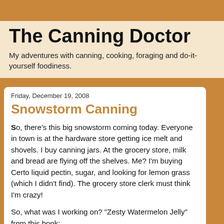The Canning Doctor
My adventures with canning, cooking, foraging and do-it-yourself foodiness.
Friday, December 19, 2008
Snowstorm Canning
So, there's this big snowstorm coming today. Everyone in town is at the hardware store getting ice melt and shovels. I buy canning jars. At the grocery store, milk and bread are flying off the shelves. Me? I'm buying Certo liquid pectin, sugar, and looking for lemon grass (which I didn't find). The grocery store clerk must think I'm crazy!
So, what was I working on? "Zesty Watermelon Jelly" from this book: